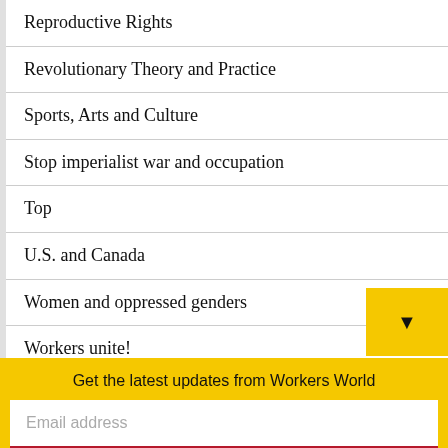Reproductive Rights
Revolutionary Theory and Practice
Sports, Arts and Culture
Stop imperialist war and occupation
Top
U.S. and Canada
Women and oppressed genders
Workers unite!
Workers World Party
Youth and Students
[Figure (logo): WWbooks logo with red rectangle and bold text]
Get the latest updates from Workers World
Email address
Subscribe